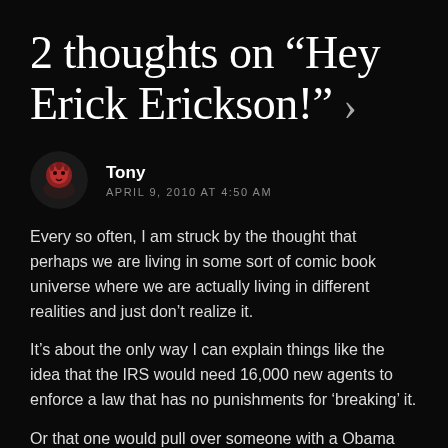2 thoughts on “Hey Erick Erickson!” ›
Tony
APRIL 9, 2010 AT 4:50 AM
Every so often, I am struck by the thought that perhaps we are living in some sort of comic book universe where we are actually living in different realities and just don’t realize it.
It’s about the only way I can explain things like the idea that the IRS would need 16,000 new agents to enforce a law that has no punishments for ‘breaking’ it.
Or that one would pull over someone with a Obama bumper sticker and ask “How’s that hopey-changey stuff workin out for